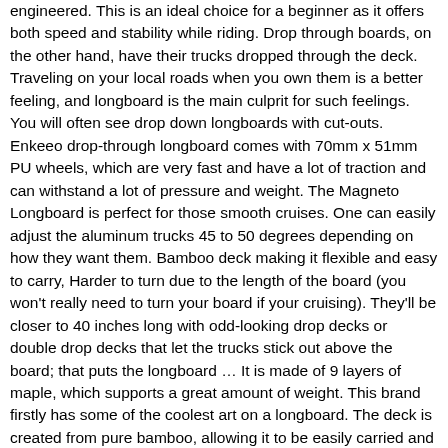engineered. This is an ideal choice for a beginner as it offers both speed and stability while riding. Drop through boards, on the other hand, have their trucks dropped through the deck. Traveling on your local roads when you own them is a better feeling, and longboard is the main culprit for such feelings. You will often see drop down longboards with cut-outs. Enkeeo drop-through longboard comes with 70mm x 51mm PU wheels, which are very fast and have a lot of traction and can withstand a lot of pressure and weight. The Magneto Longboard is perfect for those smooth cruises. One can easily adjust the aluminum trucks 45 to 50 degrees depending on how they want them. Bamboo deck making it flexible and easy to carry, Harder to turn due to the length of the board (you won't really need to turn your board if your cruising). They'll be closer to 40 inches long with odd-looking drop decks or double drop decks that let the trucks stick out above the board; that puts the longboard … It is made of 9 layers of maple, which supports a great amount of weight. This brand firstly has some of the coolest art on a longboard. The deck is created from pure bamboo, allowing it to be easily carried and the board is also very flexible. Drop through longboards are great for beginner and intermediate riders. 28 posts. Longboards are good for beginners, which requires simple techniques to play. Deze double-dropped longboards zijn niet alleen voorzien van